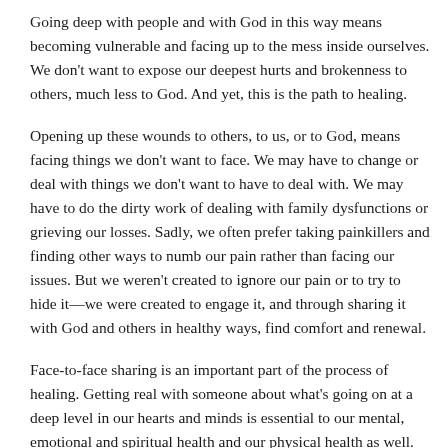Going deep with people and with God in this way means becoming vulnerable and facing up to the mess inside ourselves. We don't want to expose our deepest hurts and brokenness to others, much less to God. And yet, this is the path to healing.
Opening up these wounds to others, to us, or to God, means facing things we don't want to face. We may have to change or deal with things we don't want to have to deal with. We may have to do the dirty work of dealing with family dysfunctions or grieving our losses. Sadly, we often prefer taking painkillers and finding other ways to numb our pain rather than facing our issues. But we weren't created to ignore our pain or to try to hide it—we were created to engage it, and through sharing it with God and others in healthy ways, find comfort and renewal.
Face-to-face sharing is an important part of the process of healing. Getting real with someone about what's going on at a deep level in our hearts and minds is essential to our mental, emotional and spiritual health and our physical health as well. We need to drop our facades, and our false selves, and just be real with God and one another. And this is not easy to do, much less to...